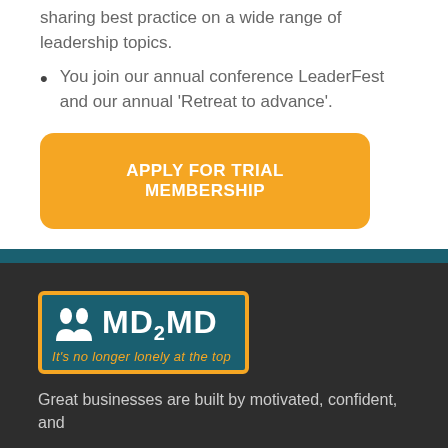sharing best practice on a wide range of leadership topics.
You join our annual conference LeaderFest and our annual ‘Retreat to advance’.
APPLY FOR TRIAL MEMBERSHIP
[Figure (logo): MD2MD logo with two face silhouettes and tagline 'It's no longer lonely at the top' on a teal background with orange border]
Great businesses are built by motivated, confident, and